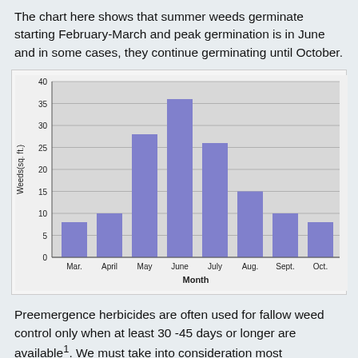The chart here shows that summer weeds germinate starting February-March and peak germination is in June and in some cases, they continue germinating until October.
[Figure (bar-chart): ]
Preemergence herbicides are often used for fallow weed control only when at least 30 -45 days or longer are available1. We must take into consideration most